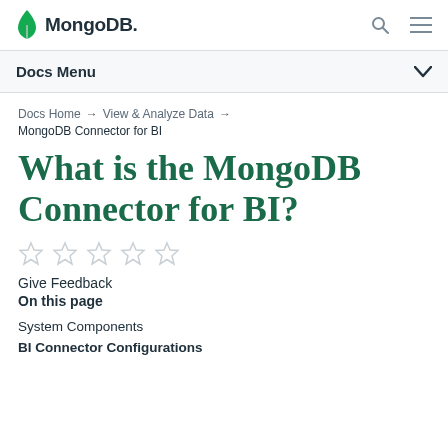MongoDB
Docs Menu
Docs Home → View & Analyze Data → MongoDB Connector for BI
What is the MongoDB Connector for BI?
Give Feedback
On this page
System Components
BI Connector Configurations